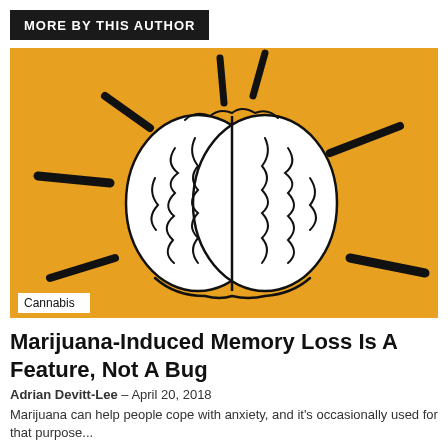MORE BY THIS AUTHOR
[Figure (illustration): Illustration of a human brain with radiating lines on an orange/yellow background, representing brain activity. A white label 'Cannabis' appears in the bottom left corner of the image.]
Marijuana-Induced Memory Loss Is A Feature, Not A Bug
Adrian Devitt-Lee – April 20, 2018
Marijuana can help people cope with anxiety, and it's occasionally used for that purpose...